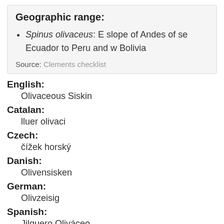Geographic range:
Spinus olivaceus: E slope of Andes of se Ecuador to Peru and w Bolivia
Source: Clements checklist
English:
Olivaceous Siskin
Catalan:
lluer olivaci
Czech:
čížek horský
Danish:
Olivensisken
German:
Olivzeisig
Spanish:
Jilguero Oliváceo
Spanish (Spain):